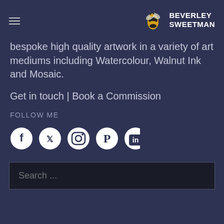BEVERLEY SWEETMAN
bespoke high quality artwork in a variety of art mediums including Watercolour, Walnut Ink and Mosaic.
Get in touch | Book a Commission
FOLLOW ME
[Figure (other): Social media icons: Facebook, Twitter, Instagram, Pinterest, LinkedIn]
Search ...